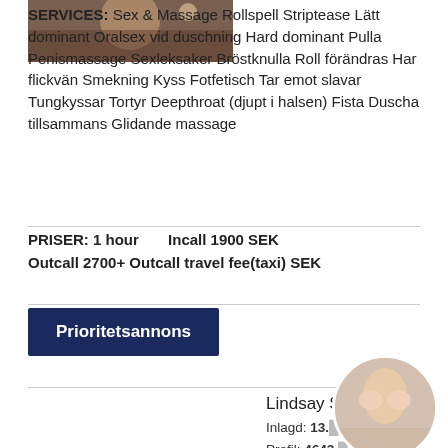SERVICES: Sex & Massage Rollspell Striptease Lätt dominant Oralsex vid duschning Hard dominant Pulla Penismassage Sexleksaker Bröstknulla Roll förändras Har flickvän Smekning Kyss Fotfetisch Tar emot slavar Tungkyssar Tortyr Deepthroat (djupt i halsen) Fista Duscha tillsammans Glidande massage
PRISER: 1 hour   Incall 1900 SEK Outcall 2700+ Outcall travel fee(taxi) SEK
Prioritetsannons
[Figure (photo): Portrait photo of a woman with dark hair]
Lindsay S
Inlagd: 13.
Profil: 4643.
Verification: Incall/Outcall:
[Figure (photo): Circular overlay photo]